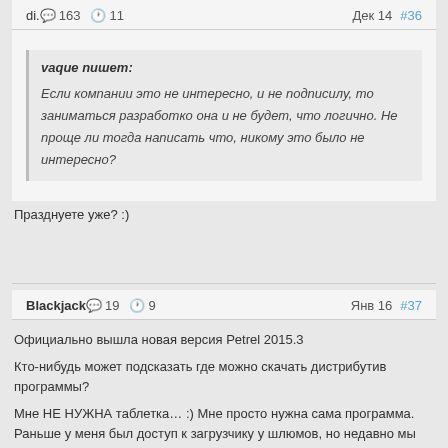di.  163  11  Дек 14  #36
vaque пишет:
Если компании это не интересно, и не подписилу, то заниматься разработко она и не будет, что логично. Не проще ли тогда написать что, никому это было не интересно?
Празднуете уже? :)
Blackjack  19  9  Янв 16  #37
Официально вышла новая версия Petrel 2015.3
Кто-нибудь может подсказать где можно скачать дистрибутив программы?
Мне НЕ НУЖНА таблетка… :) Мне просто нужна сама программа. Раньше у меня был доступ к загрузчику у шлюмов, но недавно мы